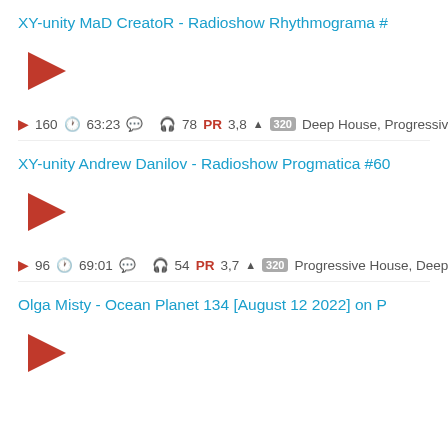XY-unity MaD CreatoR - Radioshow Rhythmograma #
[Figure (other): Red play button triangle icon]
160  63:23     78  PR  3,8 ▲  320  Deep House, Progressive House
XY-unity Andrew Danilov - Radioshow Progmatica #60
[Figure (other): Red play button triangle icon]
96  69:01     54  PR  3,7 ▲  320  Progressive House, Deep Techno
Olga Misty - Ocean Planet 134 [August 12 2022] on P
[Figure (other): Red play button triangle icon]